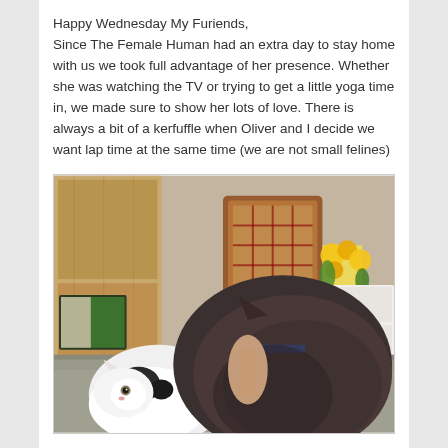Happy Wednesday My Furiends,
Since The Female Human had an extra day to stay home with us we took full advantage of her presence. Whether she was watching the TV or trying to get a little yoga time in, we made sure to show her lots of love. There is always a bit of a kerfuffle when Oliver and I decide we want lap time at the same time (we are not small felines)
[Figure (photo): Two cats sitting on a couch in a living room. A white and black cat is on the left, and a large dark brown/grey cat is on the right facing away from camera. A wooden cabinet with TV is visible in the background along with a rocking chair and flowers.]